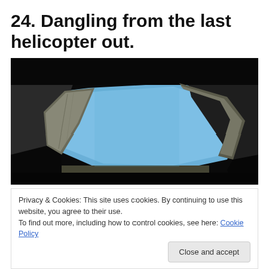24. Dangling from the last helicopter out.
[Figure (photo): View looking upward through a ruined stone archway or window opening, with dark stone walls surrounding a bright blue sky visible through the hexagonal/octagonal opening. Interior of the structure is nearly black.]
Privacy & Cookies: This site uses cookies. By continuing to use this website, you agree to their use.
To find out more, including how to control cookies, see here: Cookie Policy
What a lowly position feels like.